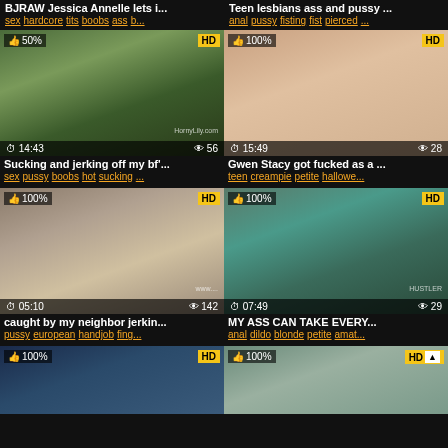BJRAW Jessica Annelle lets i...
Teen lesbians ass and pussy ...
sex hardcore tits boobs ass b...
anal pussy fisting fist pierced ...
[Figure (photo): Video thumbnail showing woman in green sari, 50% rating, HD badge, duration 14:43, views 56, watermark HornyLily.com]
[Figure (photo): Video thumbnail showing close-up adult content, 100% rating, HD badge, duration 15:49, views 28]
Sucking and jerking off my bf'...
Gwen Stacy got fucked as a ...
sex pussy boobs hot sucking ...
teen creampie petite hallowe...
[Figure (photo): Video thumbnail showing young woman in denim shorts on couch, 100% rating, HD badge, duration 05:10, views 142]
[Figure (photo): Video thumbnail showing adult content close-up, 100% rating, HD badge, duration 07:49, views 29]
caught by my neighbor jerkin...
MY ASS CAN TAKE EVERY...
pussy european handjob fing...
anal dildo blonde petite amat...
[Figure (illustration): Anime/hentai video thumbnail, 100% rating, HD badge, partially visible]
[Figure (photo): Video thumbnail showing adult content, 100% rating, HD badge, partially visible]